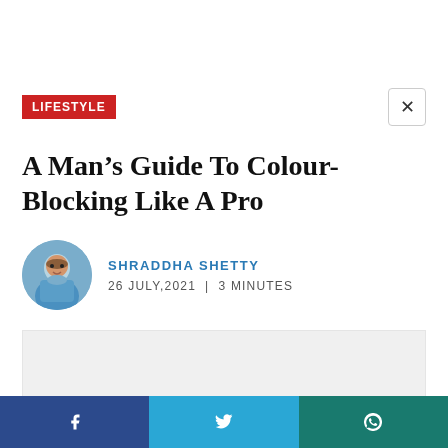LIFESTYLE
A Man’s Guide To Colour-Blocking Like A Pro
SHRADDHA SHETTY
26 JULY,2021 | 3 MINUTES
[Figure (photo): Light grey placeholder rectangle representing an article image]
Social share buttons: Facebook, Twitter, WhatsApp